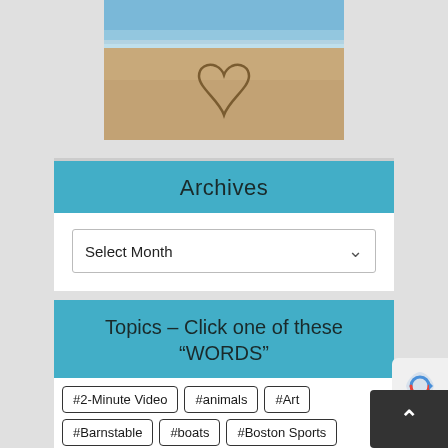[Figure (photo): Photo of a heart drawn in beach sand with ocean waves in the background]
Archives
Select Month
Topics – Click one of these "WORDS"
#2-Minute Video
#animals
#Art
#Barnstable
#boats
#Boston Sports
#Bourne
#Brewster
#Cape Cod Wave